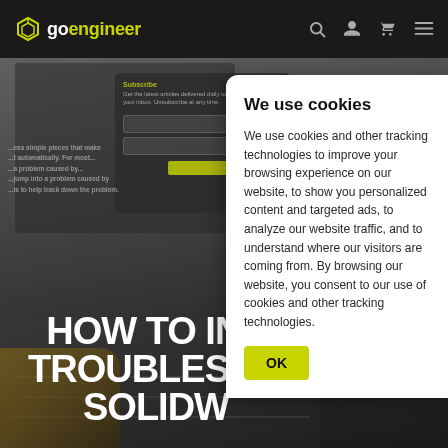GoEngineer navigation bar with logo and icons
[Figure (screenshot): Hero background showing a blurred laptop/keyboard image with a subscribe modal overlay and partial article text visible]
HOW TO INS TROUBLESHO SOLIDW
We use cookies

We use cookies and other tracking technologies to improve your browsing experience on our website, to show you personalized content and targeted ads, to analyze our website traffic, and to understand where our visitors are coming from. By browsing our website, you consent to our use of cookies and other tracking technologies.
OK